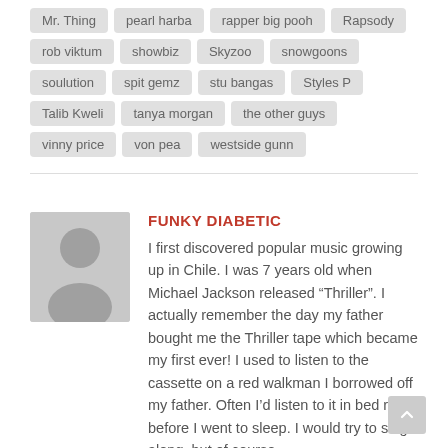Mr. Thing
pearl harba
rapper big pooh
Rapsody
rob viktum
showbiz
Skyzoo
snowgoons
soulution
spit gemz
stu bangas
Styles P
Talib Kweli
tanya morgan
the other guys
vinny price
von pea
westside gunn
FUNKY DIABETIC
I first discovered popular music growing up in Chile. I was 7 years old when Michael Jackson released “Thriller”. I actually remember the day my father bought me the Thriller tape which became my first ever! I used to listen to the cassette on a red walkman I borrowed off my father. Often I’d listen to it in bed right before I went to sleep. I would try to sing along, but of course...